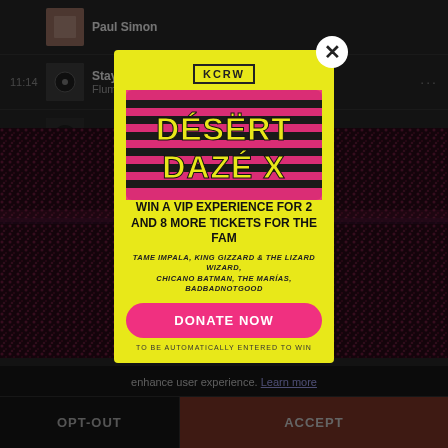Paul Simon
11:14 — Stay Close — Flume
14:06 — Smalltalk (Four Tet remix)
[Figure (screenshot): KCRW Desert Daze X promotional popup modal with yellow background, pink 'DONATE NOW' button, text: WIN A VIP EXPERIENCE FOR 2 AND 8 MORE TICKETS FOR THE FAM, artists listed: Tame Impala, King Gizzard & The Lizard Wizard, Chicano Batman, The Marías, BadBadNotGood]
enhance user experience. Learn more
OPT-OUT
ACCEPT